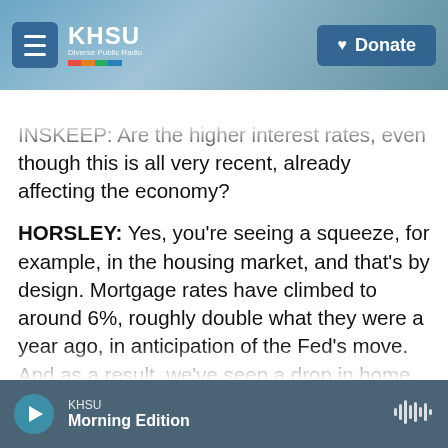KHSU — Donate
INSKEEP: Are the higher interest rates, even though this is all very recent, already affecting the economy?
HORSLEY: Yes, you're seeing a squeeze, for example, in the housing market, and that's by design. Mortgage rates have climbed to around 6%, roughly double what they were a year ago, in anticipation of the Fed's move. And as a result, we've seen a drop in home sales and new home construction. Over time, you could see a similar slowdown in other parts of the economy. That's what it means for the Fed to tamp down demand and to bring prices under control. Powell
KHSU Morning Edition